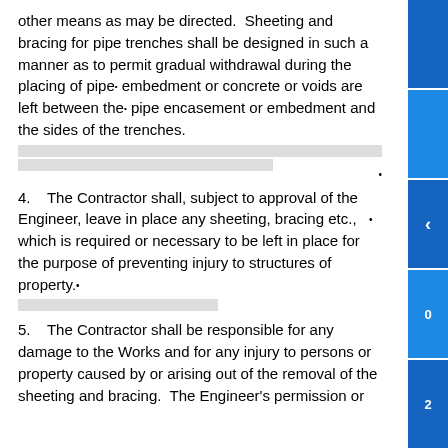other means as may be directed. Sheeting and bracing for pipe trenches shall be designed in such a manner as to permit gradual withdrawal during the placing of pipe embedment or concrete or voids are left between the pipe encasement or embedment and the sides of the trenches.
[redacted lines]
4.   The Contractor shall, subject to approval of the Engineer, leave in place any sheeting, bracing etc., which is required or necessary to be left in place for the purpose of preventing injury to structures of property.
[redacted line]
5.   The Contractor shall be responsible for any damage to the Works and for any injury to persons or property caused by or arising out of the removal of the sheeting and bracing. The Engineer's permission or